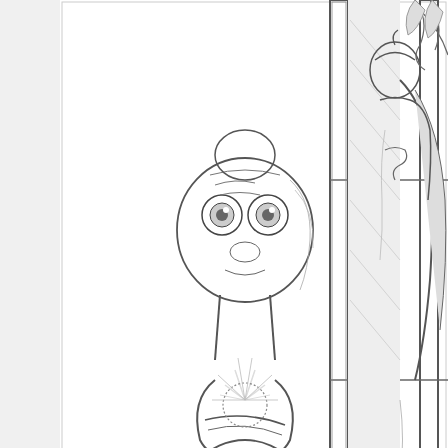[Figure (illustration): Pencil sketch illustration showing E.T. the Extra-Terrestrial character standing with arms crossed, with a glowing chest, and Superman visible in a doorway/closet on the right. A signature box reads 'Tony Wolf 7-5-14' in the lower left of the drawing.]
Superman and E.T. illustrated by Tony Wolf